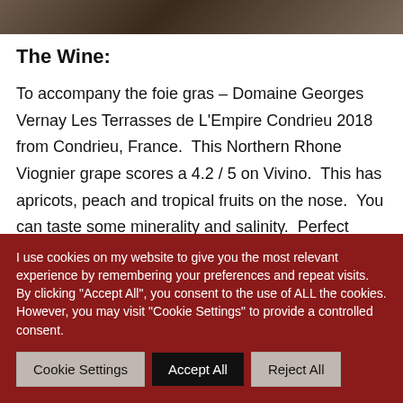[Figure (photo): Dark background image, partially visible at the top of the page, showing a dark brownish scene.]
The Wine:
To accompany the foie gras – Domaine Georges Vernay Les Terrasses de L'Empire Condrieu 2018 from Condrieu, France.  This Northern Rhone Viognier grape scores a 4.2 / 5 on Vivino.  This has apricots, peach and tropical fruits on the nose.  You can taste some minerality and salinity.  Perfect white wine to
I use cookies on my website to give you the most relevant experience by remembering your preferences and repeat visits. By clicking "Accept All", you consent to the use of ALL the cookies. However, you may visit "Cookie Settings" to provide a controlled consent.
Cookie Settings
Accept All
Reject All